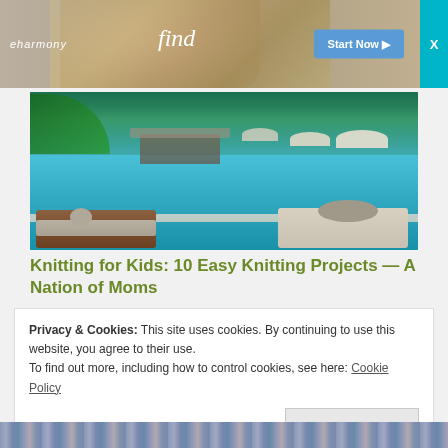[Figure (photo): eharmony advertisement banner with couple silhouette, cursive 'find' text, and 'Start Now' button]
[Figure (photo): Resort swimming pool with loungers, rolled towels, palm trees, and beach umbrellas]
Knitting for Kids: 10 Easy Knitting Projects — A Nation of Moms
Privacy & Cookies: This site uses cookies. By continuing to use this website, you agree to their use.
To find out more, including how to control cookies, see here: Cookie Policy
Close and accept
[Figure (photo): Bottom strip showing colorful yarn]